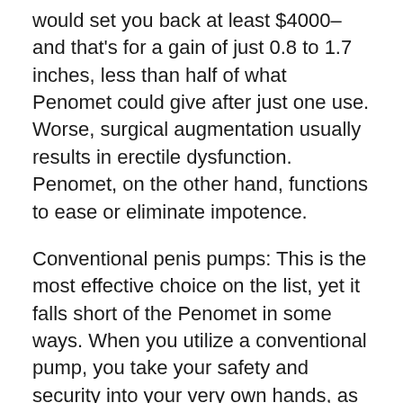would set you back at least $4000– and that's for a gain of just 0.8 to 1.7 inches, less than half of what Penomet could give after just one use. Worse, surgical augmentation usually results in erectile dysfunction. Penomet, on the other hand, functions to ease or eliminate impotence.
Conventional penis pumps: This is the most effective choice on the list, yet it falls short of the Penomet in some ways. When you utilize a conventional pump, you take your safety and security into your very own hands, as these pumps run using an air pressure mechanism that can cause blisters as well as blood vessel ruptureds. In addition, the outcomes can take anywhere between from three months...